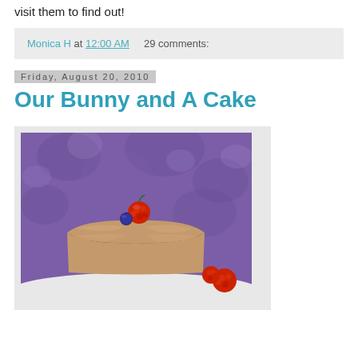visit them to find out!
Monica H at 12:00 AM    29 comments:
Friday, August 20, 2010
Our Bunny and A Cake
[Figure (photo): A slice of chocolate cake with light brown/mocha frosting topped with a raspberry and a blueberry, served on a white plate with more raspberries, against a purple floral background.]